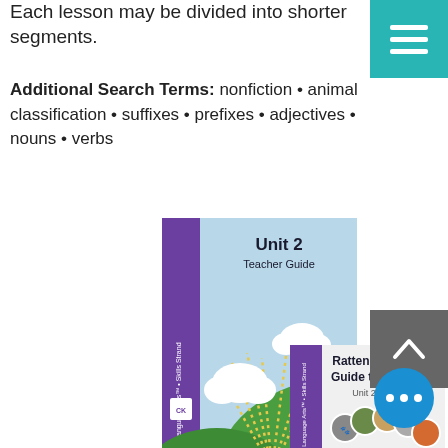Each lesson may be divided into shorter segments.
Additional Search Terms: nonfiction • animal classification • suffixes • prefixes • adjectives • nouns • verbs
[Figure (photo): Cover of Unit 2 Teacher Guide book showing a sun rising over green hills with clouds and dotted lines, purple spine, Core Knowledge Language Arts Grade 1 Skills Strand]
[Figure (photo): Cover of Rattenborough's Guide to Animals, Unit 2 Reader, with circular animal photos arranged in an arc, purple spine]